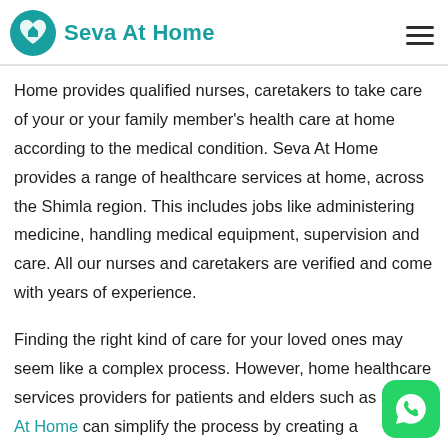Seva At Home
Home provides qualified nurses, caretakers to take care of your or your family member's health care at home according to the medical condition. Seva At Home provides a range of healthcare services at home, across the Shimla region. This includes jobs like administering medicine, handling medical equipment, supervision and care. All our nurses and caretakers are verified and come with years of experience.
Finding the right kind of care for your loved ones may seem like a complex process. However, home healthcare services providers for patients and elders such as Seva At Home can simplify the process by creating a customized plan for